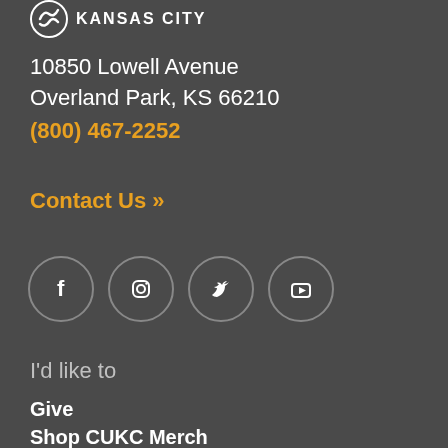[Figure (logo): University of Kansas City logo with circular icon and KANSAS CITY text]
10850 Lowell Avenue
Overland Park, KS 66210
(800) 467-2252
Contact Us >>
[Figure (other): Social media icons: Facebook, Instagram, Twitter, YouTube — each in a circle]
I'd like to
Give
Shop CUKC Merch
Refer a Student
View Calendar
Request my Transcript